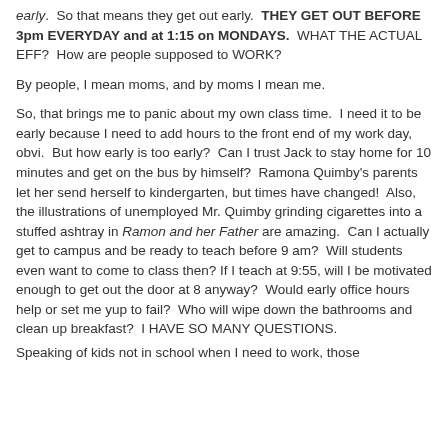early.  So that means they get out early.  THEY GET OUT BEFORE 3pm EVERYDAY and at 1:15 on MONDAYS.  WHAT THE ACTUAL EFF?  How are people supposed to WORK?
By people, I mean moms, and by moms I mean me.
So, that brings me to panic about my own class time.  I need it to be early because I need to add hours to the front end of my work day, obvi.  But how early is too early?  Can I trust Jack to stay home for 10 minutes and get on the bus by himself?  Ramona Quimby's parents let her send herself to kindergarten, but times have changed!  Also, the illustrations of unemployed Mr. Quimby grinding cigarettes into a stuffed ashtray in Ramon and her Father are amazing.  Can I actually get to campus and be ready to teach before 9 am?  Will students even want to come to class then? If I teach at 9:55, will I be motivated enough to get out the door at 8 anyway?  Would early office hours help or set me yup to fail?  Who will wipe down the bathrooms and clean up breakfast?  I HAVE SO MANY QUESTIONS.
Speaking of kids not in school when I need to work, those